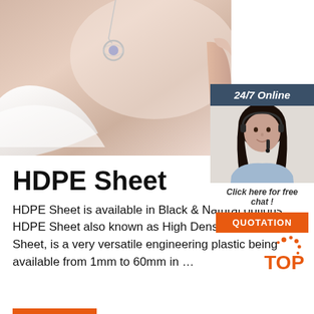[Figure (photo): Hero banner image showing a jewelry necklace with a silver pendant on a beige/pink background, with white fabric in lower left and a hand visible on the right side.]
[Figure (infographic): 24/7 Online chat widget showing a female customer service agent with headset, text 'Click here for free chat!' and an orange QUOTATION button.]
HDPE Sheet
HDPE Sheet is available in Black & Natural options. HDPE Sheet also known as High Density Polyethylene Sheet, is a very versatile engineering plastic being available from 1mm to 60mm in ...
[Figure (logo): Orange and white TOP logo in bottom right area.]